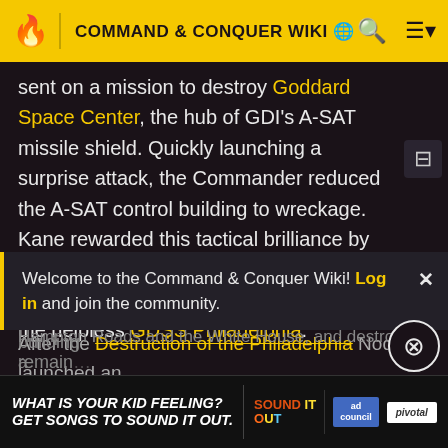COMMAND & CONQUER WIKI
sent on a mission to destroy Goddard Space Center, the hub of GDI's A-SAT missile shield. Quickly launching a surprise attack, the Commander reduced the A-SAT control building to wreckage. Kane rewarded this tactical brilliance by allowing the commander to personally launch the nuclear missile that destroyed the helpless GDSS Philadelphia.
After the Destruction of the Philadelphia Nod launched an
Welcome to the Command & Conquer Wiki! Log in and join the community.
the Pentagon was the sole GDI CENTCOM building remain...
[Figure (infographic): Ad banner: 'What is your kid feeling? Get songs to sound it out.' with Sound It Out and ad council and pivotal logos]
Hampton Roads and the White House, and destroyed a